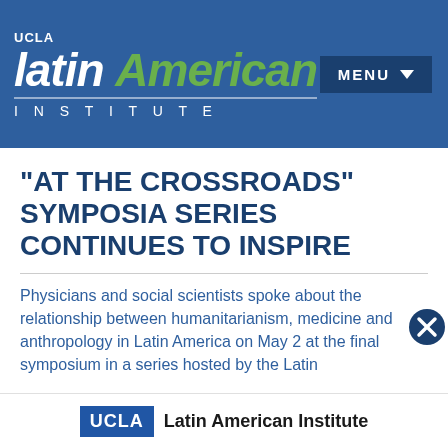[Figure (logo): UCLA Latin American Institute logo with white text on blue background header bar with MENU button]
“AT THE CROSSROADS” SYMPOSIA SERIES CONTINUES TO INSPIRE
Physicians and social scientists spoke about the relationship between humanitarianism, medicine and anthropology in Latin America on May 2 at the final symposium in a series hosted by the Latin
UCLA Latin American Institute